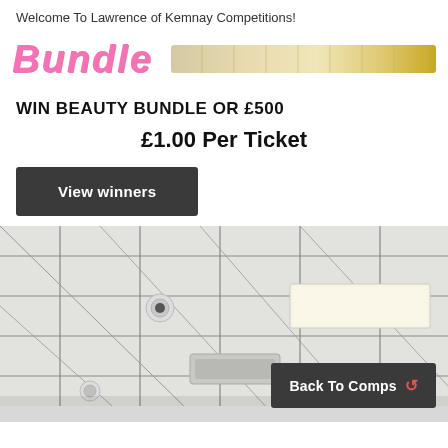Welcome To Lawrence of Kemnay Competitions!
[Figure (illustration): Pink italic bold 'Bundle' text logo and product strip with gold/cream coloured cosmetic products]
WIN BEAUTY BUNDLE OR £500
£1.00 Per Ticket
View winners
[Figure (photo): Interior photo of a room with a white suspended ceiling grid and recessed/panel lights]
Back To Comps